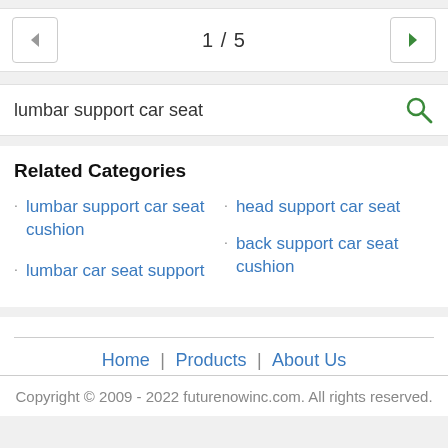1 / 5
lumbar support car seat
Related Categories
lumbar support car seat cushion
head support car seat
back support car seat cushion
lumbar car seat support
Home | Products | About Us
Copyright © 2009 - 2022 futurenowinc.com. All rights reserved.